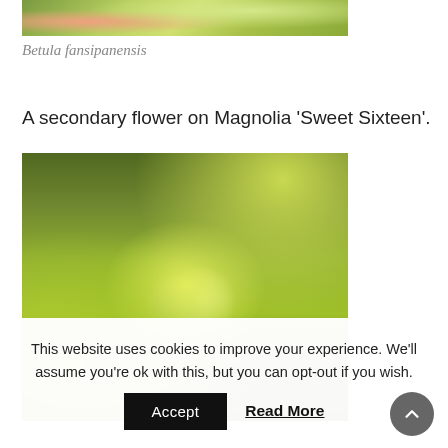[Figure (photo): Top portion of a plant photo showing green and reddish leaves, partially cropped at top of page]
Betula fansipanensis
A secondary flower on Magnolia 'Sweet Sixteen'.
[Figure (photo): Close-up photograph of Magnolia 'Sweet Sixteen' showing white flower buds emerging from large green leaves with bokeh background]
This website uses cookies to improve your experience. We'll assume you're ok with this, but you can opt-out if you wish.